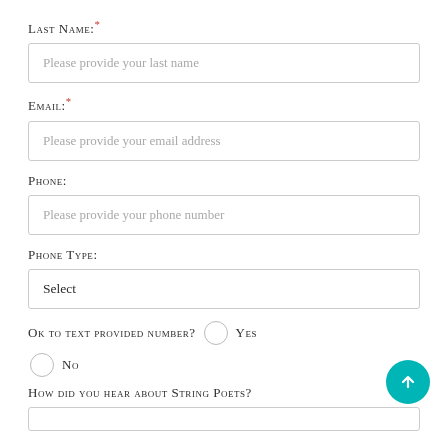Last Name:*
Please provide your last name
Email:*
Please provide your email address
Phone:
Please provide your phone number
Phone Type:
Select
OK to text provided number?  Yes
No
How did you hear about String Poets?